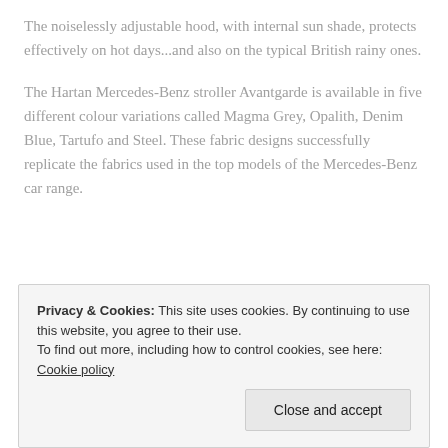The noiselessly adjustable hood, with internal sun shade, protects effectively on hot days...and also on the typical British rainy ones.

The Hartan Mercedes-Benz stroller Avantgarde is available in five different colour variations called Magma Grey, Opalith, Denim Blue, Tartufo and Steel. These fabric designs successfully replicate the fabrics used in the top models of the Mercedes-Benz car range.
Privacy & Cookies: This site uses cookies. By continuing to use this website, you agree to their use. To find out more, including how to control cookies, see here: Cookie policy